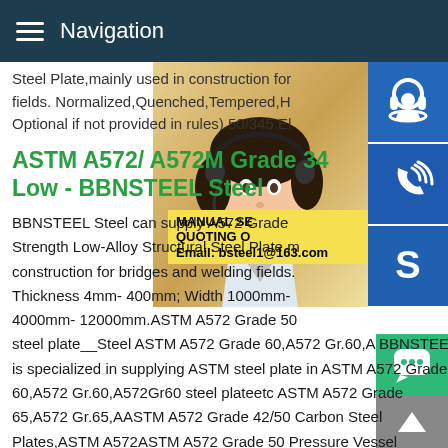Navigation
Steel Plate,mainly used in construction for fields. Normalized,Quenched,Tempered,H Optional if not provided in rules) 50/345.El
ASTM A572/ A572M Grade 34 Low - BBNSTEEL Steel
BBNSTEEL Steel can supply A572 Grade Strength Low-Alloy Structural Steel Plate,mainly used in construction for bridges and welding fields. Thickness 4mm- 400mm; Width 1000mm- 4000mm- 12000mm.ASTM A572 Grade 50 steel plate__Steel ASTM A572 Grade 60,A572 Gr.60,A BBNSTEEL is specialized in supplying ASTM steel plate in ASTM A572 Grade 60,A572 Gr.60,A572Gr60 steel plateetc ASTM A572 Grade 65,A572 Gr.65,AASTM A572 Grade 42/50 Carbon Steel Plates,ASTM A572ASTM A572 Grade 50 Pressure Vessel Plates,ASTM A572 Gr.50 Plate Stockholder ASTM A572 Grad
[Figure (photo): Customer service representative woman with headset, yellow background]
[Figure (infographic): MANUAL SERVICE, QUOTING ON, Email: bsteel1@163.com overlay box]